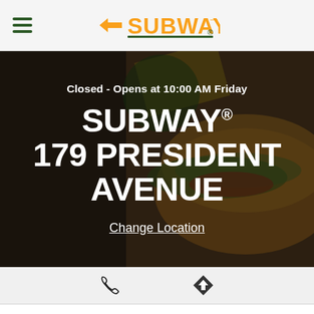SUBWAY logo header with hamburger menu
[Figure (screenshot): Subway restaurant hero image showing sandwiches with overlaid text: Closed - Opens at 10:00 AM Friday, SUBWAY® 179 PRESIDENT AVENUE, Change Location link]
Closed - Opens at 10:00 AM Friday
SUBWAY® 179 PRESIDENT AVENUE
Change Location
[Figure (infographic): Phone icon and directions/navigation icon in gray icon row]
By clicking "Accept All Cookies", you agree to the storing of cookies on your device to enhance site navigation, analyze site usage, and assist in our marketing efforts.